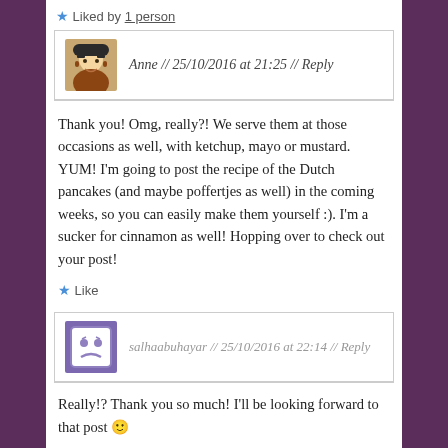★ Liked by 1 person
Anne // 25/10/2016 at 21:25 // Reply
Thank you! Omg, really?! We serve them at those occasions as well, with ketchup, mayo or mustard. YUM! I'm going to post the recipe of the Dutch pancakes (and maybe poffertjes as well) in the coming weeks, so you can easily make them yourself :). I'm a sucker for cinnamon as well! Hopping over to check out your post!
★ Like
salhaabuhayar // 25/10/2016 at 22:14 // Reply
Really!? Thank you so much! I'll be looking forward to that post 🙂